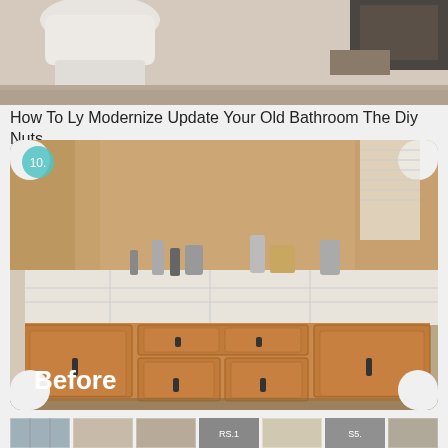[Figure (photo): Top partial photo of a bathroom with white toilet and beige walls visible]
How To Ly Modernize Update Your Old Bathroom The Diy Nuts
[Figure (photo): Before photo of bathroom vanity with wooden cabinets and tile countertop, numbered 10, with label 'Before' in bottom left]
[Figure (photo): Bottom strip of thumbnail images]